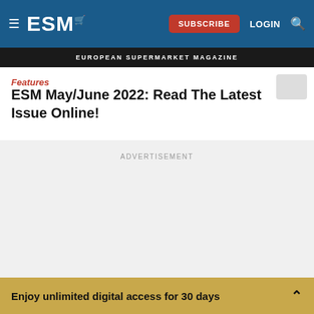ESM | EUROPEAN SUPERMARKET MAGAZINE
Features
ESM May/June 2022: Read The Latest Issue Online!
ADVERTISEMENT
Enjoy unlimited digital access for 30 days